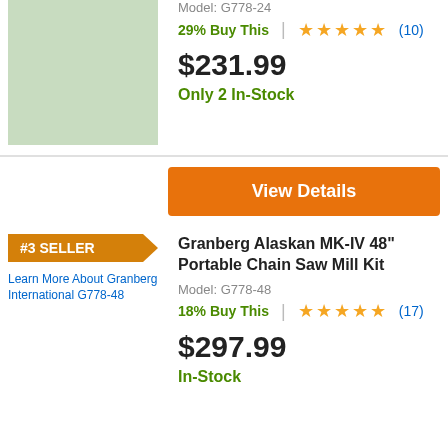Model: G778-24
29% Buy This | ★★★★½ (10)
$231.99
Only 2 In-Stock
View Details
#3 SELLER
Granberg Alaskan MK-IV 48" Portable Chain Saw Mill Kit
[Figure (photo): Product image placeholder - green rectangle for first product]
[Figure (photo): Learn More About Granberg International G778-48 product image]
Model: G778-48
18% Buy This | ★★★★½ (17)
$297.99
In-Stock